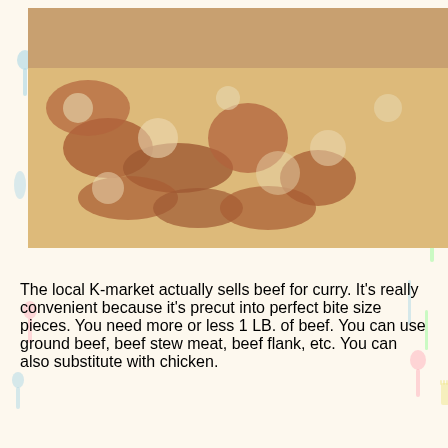[Figure (photo): Raw beef pieces precut for curry on a yellow tray with a store price label showing $3.99]
The local K-market actually sells beef for curry. It's really convenient because it's precut into perfect bite size pieces. You need more or less 1 LB. of beef. You can use ground beef, beef stew meat, beef flank, etc. You can also substitute with chicken.
[Figure (photo): A white round pan/pot with a small amount of butter or oil in the center, on a dark surface]